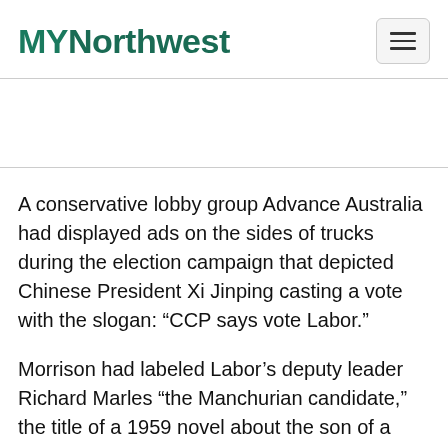MYNorthwest
A conservative lobby group Advance Australia had displayed ads on the sides of trucks during the election campaign that depicted Chinese President Xi Jinping casting a vote with the slogan: “CCP says vote Labor.”
Morrison had labeled Labor’s deputy leader Richard Marles “the Manchurian candidate,” the title of a 1959 novel about the son of a